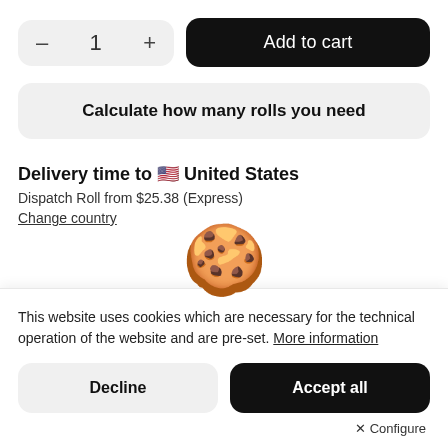– 1 + Add to cart
Calculate how many rolls you need
Delivery time to 🇺🇸 United States
Dispatch Roll from $25.38 (Express)
Change country
[Figure (illustration): Cookie emoji illustration — a round chocolate chip cookie with crumbs]
This website uses cookies which are necessary for the technical operation of the website and are pre-set. More information
Decline
Accept all
⚙ Configure